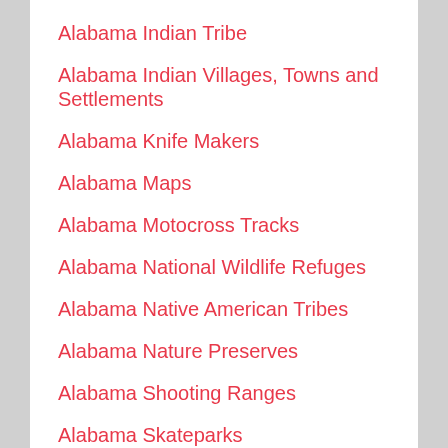Alabama Indian Tribe
Alabama Indian Villages, Towns and Settlements
Alabama Knife Makers
Alabama Maps
Alabama Motocross Tracks
Alabama National Wildlife Refuges
Alabama Native American Tribes
Alabama Nature Preserves
Alabama Shooting Ranges
Alabama Skateparks
Alabama State Forests
Alabama State Parks
Alabama Stories